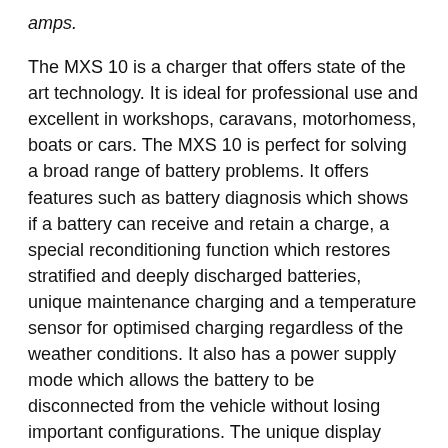amps.
The MXS 10 is a charger that offers state of the art technology. It is ideal for professional use and excellent in workshops, caravans, motorhomess, boats or cars. The MXS 10 is perfect for solving a broad range of battery problems. It offers features such as battery diagnosis which shows if a battery can receive and retain a charge, a special reconditioning function which restores stratified and deeply discharged batteries, unique maintenance charging and a temperature sensor for optimised charging regardless of the weather conditions. It also has a power supply mode which allows the battery to be disconnected from the vehicle without losing important configurations. The unique display allows the user to follow the entire charging process.
The MXS 10 is a fully automatic 8-step charger that